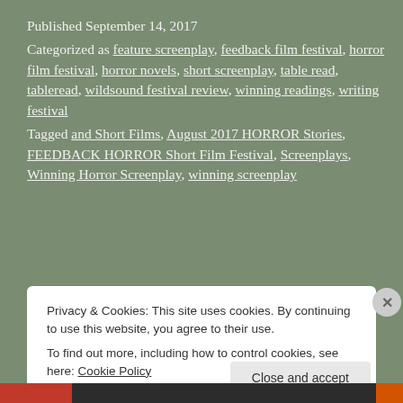Published September 14, 2017
Categorized as feature screenplay, feedback film festival, horror film festival, horror novels, short screenplay, table read, tableread, wildsound festival review, winning readings, writing festival
Tagged and Short Films, August 2017 HORROR Stories, FEEDBACK HORROR Short Film Festival, Screenplays, Winning Horror Screenplay, winning screenplay
Privacy & Cookies: This site uses cookies. By continuing to use this website, you agree to their use.
To find out more, including how to control cookies, see here: Cookie Policy
Close and accept